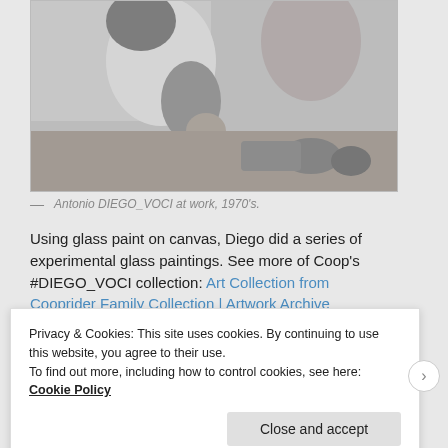[Figure (photo): Black and white photograph of Antonio DIEGO_VOCI at work, 1970s. Shows a man in a white t-shirt leaning over and working at a surface with art supplies.]
— Antonio DIEGO_VOCI at work, 1970's.
Using glass paint on canvas, Diego did a series of experimental glass paintings. See more of Coop's #DIEGO_VOCI collection: Art Collection from Cooprider Family Collection | Artwork Archive
Privacy & Cookies: This site uses cookies. By continuing to use this website, you agree to their use.
To find out more, including how to control cookies, see here: Cookie Policy